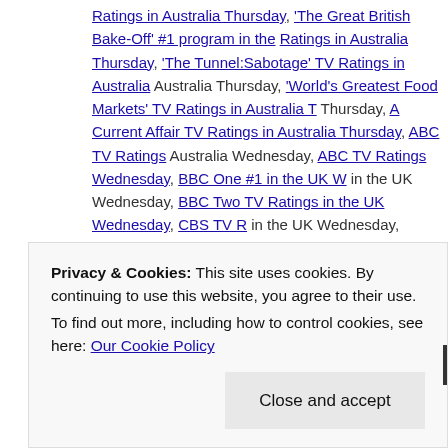Ratings in Australia Thursday, 'The Great British Bake-Off' #1 program in the Ratings in Australia Thursday, 'The Tunnel:Sabotage' TV Ratings in Australia Australia Thursday, 'World's Greatest Food Markets' TV Ratings in Australia T Thursday, A Current Affair TV Ratings in Australia Thursday, ABC TV Ratings Australia Wednesday, ABC TV Ratings Wednesday, BBC One #1 in the UK W in the UK Wednesday, BBC Two TV Ratings in the UK Wednesday, CBS TV R in the UK Wednesday, Channel 5 TV Ratings in the UK Wednesday, CNA|SC Googlebox TV Ratings in Australia Thursday, Home and Away TV Ratings in A UK Wednesday, Lance Hanish, NBC #1 Wednesday 093116, NBC TV Rating 083116, Nine #1 in Australia Thursday 090116, Nine #1 TV Ratings in Austra Wednesday, SBS TV Ratings in Australia Thursday, SBS TV Ratings in Austr Cities' opens this weekend in NYC & LA, Seven TV Ratings in Australia Thurs Wednesday, Some Social Media Behaviors Are Turning Off Your Followers, T Ratings in Australia Thursday, Ten TV Ratings in Australia Wednesday, The C Show TV Ratings in Australia Thursday, Univision TV Ratings Wednesday | L
Privacy & Cookies: This site uses cookies. By continuing to use this website, you agree to their use.
To find out more, including how to control cookies, see here: Our Cookie Policy
Close and accept